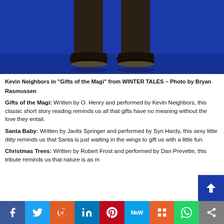[Figure (photo): A performer's legs and dress shoes on a blue-lit stage, viewed from below the knees]
Kevin Neighbors in “Gifts of the Magi” from WINTER TALES – Photo by Bryan Rasmussen
Gifts of the Magi: Written by O. Henry and performed by Kevin Neighbors, this classic short story reading reminds us all that gifts have no meaning without the love they entail.
Santa Baby: Written by Javits Springer and performed by Syn Hardy, this sexy little ditty reminds us that Santa is just waiting in the wings to gift us with a little fun.
Christmas Trees: Written by Robert Frost and performed by Dan Prevette, this tribute reminds us that nature is as m
[Figure (infographic): Social media sharing bar with buttons for Facebook, Twitter, Reddit, LinkedIn, Pinterest, MeWe, Mix, WhatsApp, and share]